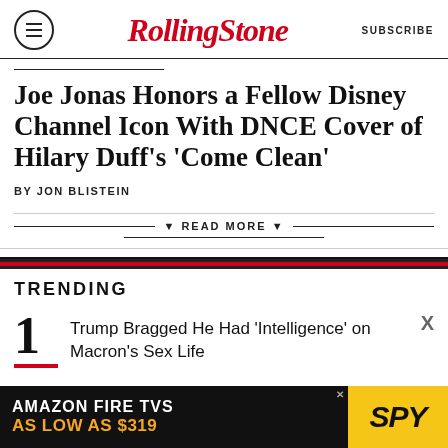Rolling Stone  SUBSCRIBE
Joe Jonas Honors a Fellow Disney Channel Icon With DNCE Cover of Hilary Duff’s ‘Come Clean’
BY JON BLISTEIN
READ MORE
TRENDING
1 Trump Bragged He Had 'Intelligence' on Macron's Sex Life
[Figure (other): Amazon Fire TVs as low as $319 advertisement banner with SPY logo]